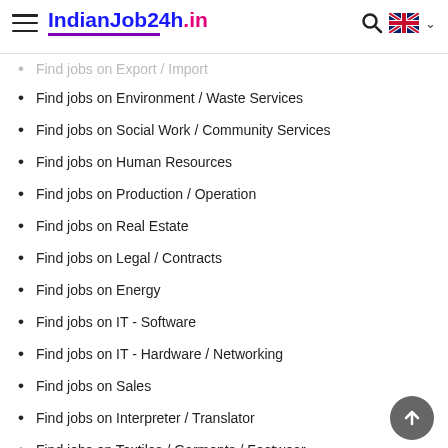IndianJob24h.in
Find jobs on Export / Import
Find jobs on Environment / Waste Services
Find jobs on Social Work / Community Services
Find jobs on Human Resources
Find jobs on Production / Operation
Find jobs on Real Estate
Find jobs on Legal / Contracts
Find jobs on Energy
Find jobs on IT - Software
Find jobs on IT - Hardware / Networking
Find jobs on Sales
Find jobs on Interpreter / Translator
Find jobs on Textiles / Garments / Footwear
Find jobs on Merchandising / Purchasing / Supply Chain
Find jobs on TV / Media / Newspaper
Find jobs on Mechanical / Technical